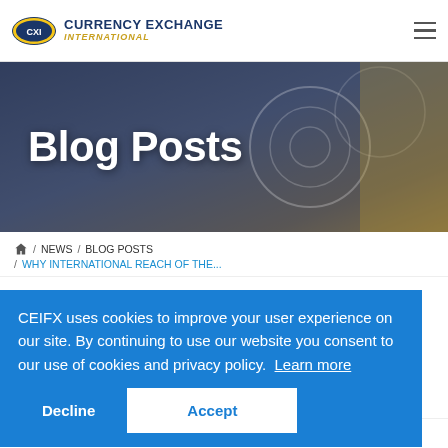Currency Exchange International
Blog Posts
/ NEWS / BLOG POSTS / WHY INTERNATIONAL REACH OF THE...
CEIFX uses cookies to improve your user experience on our site. By continuing to use our website you consent to our use of cookies and privacy policy. Learn more
Decline  Accept
Ryan   January 30th, 2018